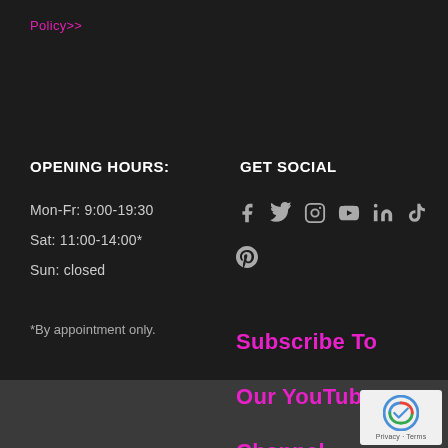Policy>>
OPENING HOURS:
GET SOCIAL
Mon-Fr: 9:00-19:30
Sat: 11:00-14:00*
Sun: closed
[Figure (infographic): Social media icons: Facebook, Twitter, Instagram, YouTube, LinkedIn, TikTok, Pinterest]
*By appointment only.
Subscribe To Our YouTube Channel.
[Figure (other): reCAPTCHA badge with Privacy - Terms text]